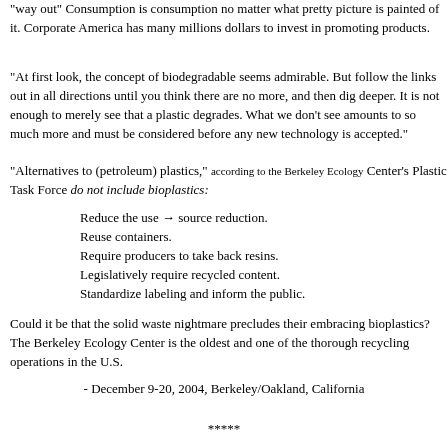"way out" Consumption is consumption no matter what pretty picture is painted of it. Corporate America has many millions dollars to invest in promoting products.
"At first look, the concept of biodegradable seems admirable. But follow the links out in all directions until you think there are no more, and then dig deeper. It is not enough to merely see that a plastic degrades. What we don't see amounts to so much more and must be considered before any new technology is accepted."
"Alternatives to (petroleum) plastics," according to the Berkeley Ecology Center's Plastic Task Force do not include bioplastics:
Reduce the use → source reduction.
Reuse containers.
Require producers to take back resins.
Legislatively require recycled content.
Standardize labeling and inform the public.
Could it be that the solid waste nightmare precludes their embracing bioplastics? The Berkeley Ecology Center is the oldest and one of the thorough recycling operations in the U.S.
- December 9-20, 2004, Berkeley/Oakland, California
*****